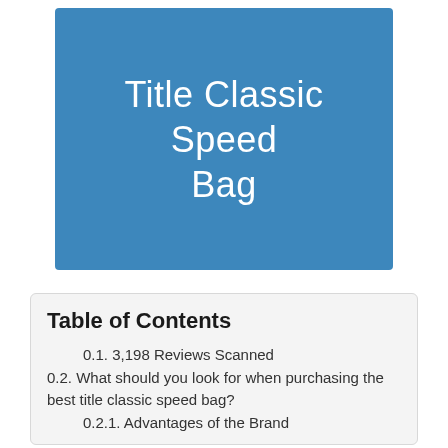Title Classic Speed Bag
Table of Contents
0.1. 3,198 Reviews Scanned
0.2. What should you look for when purchasing the best title classic speed bag?
0.2.1. Advantages of the Brand